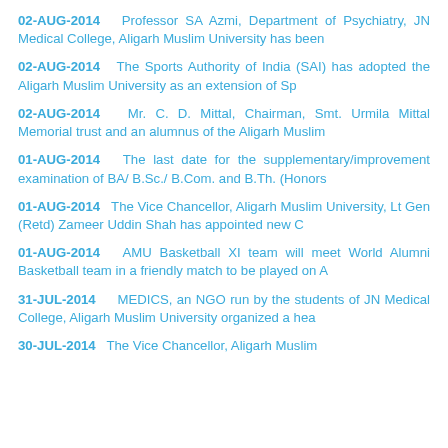02-AUG-2014  Professor SA Azmi, Department of Psychiatry, JN Medical College, Aligarh Muslim University has been
02-AUG-2014  The Sports Authority of India (SAI) has adopted the Aligarh Muslim University as an extension of Sp
02-AUG-2014  Mr. C. D. Mittal, Chairman, Smt. Urmila Mittal Memorial trust and an alumnus of the Aligarh Muslim
01-AUG-2014  The last date for the supplementary/improvement examination of BA/ B.Sc./ B.Com. and B.Th. (Honors
01-AUG-2014  The Vice Chancellor, Aligarh Muslim University, Lt Gen (Retd) Zameer Uddin Shah has appointed new C
01-AUG-2014  AMU Basketball XI team will meet World Alumni Basketball team in a friendly match to be played on A
31-JUL-2014  MEDICS, an NGO run by the students of JN Medical College, Aligarh Muslim University organized a hea
30-JUL-2014  The Vice Chancellor, Aligarh Muslim...